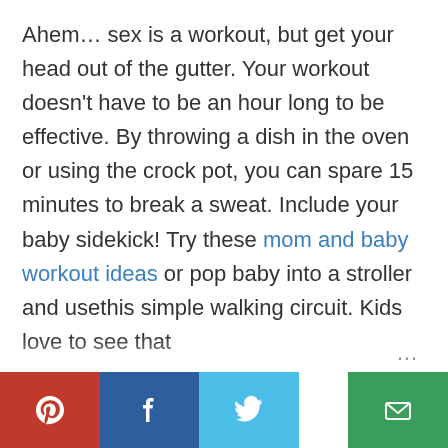Ahem… sex is a workout, but get your head out of the gutter. Your workout doesn't have to be an hour long to be effective. By throwing a dish in the oven or using the crock pot, you can spare 15 minutes to break a sweat. Include your baby sidekick! Try these mom and baby workout ideas or pop baby into a stroller and usethis simple walking circuit. Kids love to see that ...